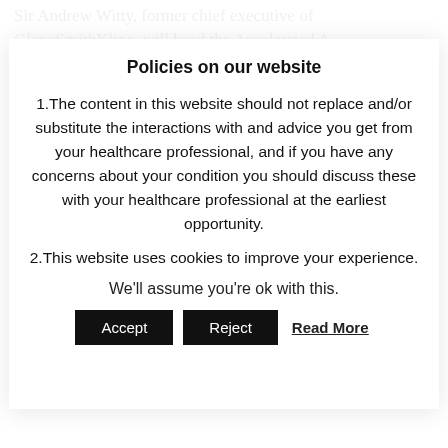Sir Andrew Witty, former chief executive of GlaxoSmithKline, will head the Accelerated Access...
Policies on our website
1.The content in this website should not replace and/or substitute the interactions with and advice you get from your healthcare professional, and if you have any concerns about your condition you should discuss these with your healthcare professional at the earliest opportunity.
2.This website uses cookies to improve your experience.
We'll assume you're ok with this.
Accept   Reject   Read More